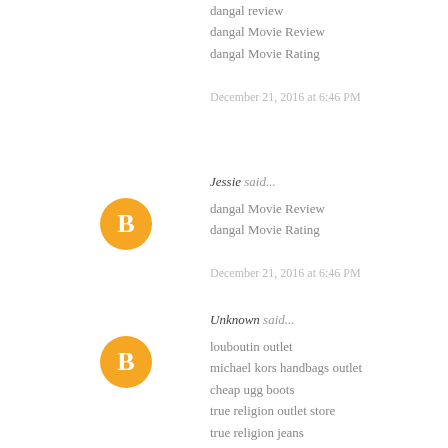dangal review
dangal Movie Review
dangal Movie Rating

December 21, 2016 at 6:46 PM
Jessie said...
dangal Movie Review
dangal Movie Rating

December 21, 2016 at 6:46 PM
Unknown said...
louboutin outlet
michael kors handbags outlet
cheap ugg boots
true religion outlet store
true religion jeans
james shoes
louboutin shoes
adidas yeezy boost 350
longchamp handbags